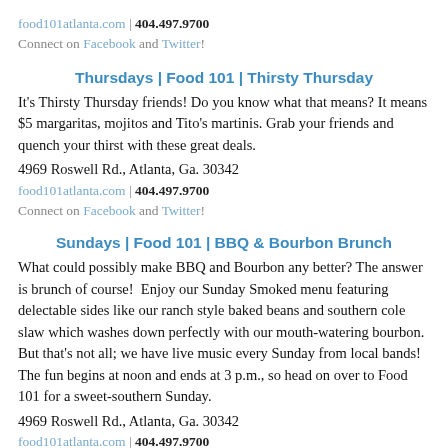food101atlanta.com | 404.497.9700
Connect on Facebook and Twitter!
Thursdays | Food 101 | Thirsty Thursday
It's Thirsty Thursday friends! Do you know what that means? It means $5 margaritas, mojitos and Tito's martinis. Grab your friends and quench your thirst with these great deals.
4969 Roswell Rd., Atlanta, Ga. 30342
food101atlanta.com | 404.497.9700
Connect on Facebook and Twitter!
Sundays | Food 101 | BBQ & Bourbon Brunch
What could possibly make BBQ and Bourbon any better? The answer is brunch of course!  Enjoy our Sunday Smoked menu featuring delectable sides like our ranch style baked beans and southern cole slaw which washes down perfectly with our mouth-watering bourbon. But that's not all; we have live music every Sunday from local bands! The fun begins at noon and ends at 3 p.m., so head on over to Food 101 for a sweet-southern Sunday.
4969 Roswell Rd., Atlanta, Ga. 30342
food101atlanta.com | 404.497.9700